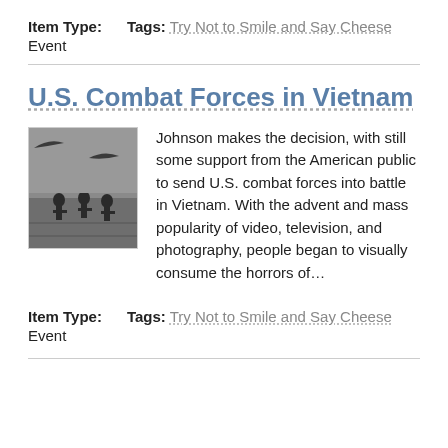Item Type:    Tags: Try Not to Smile and Say Cheese
Event
U.S. Combat Forces in Vietnam
[Figure (photo): Black and white photograph of soldiers in the field during the Vietnam War]
Johnson makes the decision, with still some support from the American public to send U.S. combat forces into battle in Vietnam. With the advent and mass popularity of video, television, and photography, people began to visually consume the horrors of…
Item Type:    Tags: Try Not to Smile and Say Cheese
Event